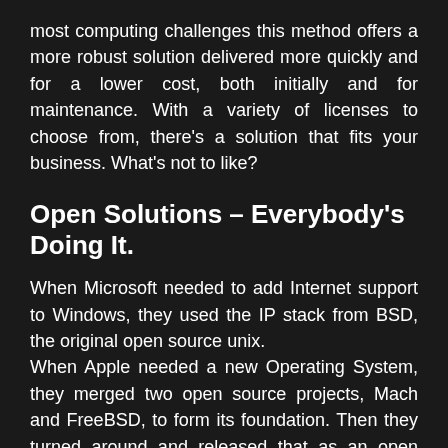most computing challenges this method offers a more robust solution delivered more quickly and for a lower cost, both initially and for maintenance. With a variety of licenses to choose from, there's a solution that fits your business. What's not to like?
Open Solutions – Everybody's Doing It.
When Microsoft needed to add Internet support to Windows, they used the IP stack from BSD, the original open source unix. When Apple needed a new Operating System, they merged two open source projects, Mach and FreeBSD, to form its foundation. Then they turned around and released that as an open source project itself, Darwin. And IBM, well, by now you must have heard, they're betting the company on Linux.